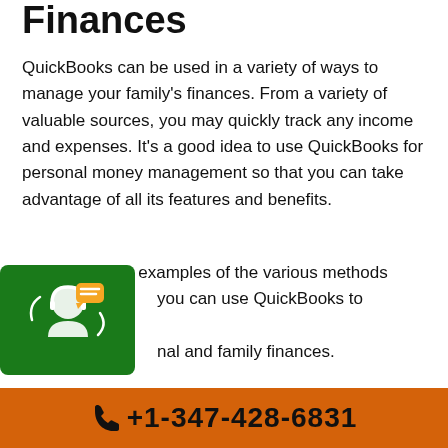Finances
QuickBooks can be used in a variety of ways to manage your family’s finances. From a variety of valuable sources, you may quickly track any income and expenses. It’s a good idea to use QuickBooks for personal money management so that you can take advantage of all its features and benefits.
Here are a few examples of the various methods you can use QuickBooks to manage your personal and family finances.
[Figure (illustration): Green rounded square icon with a customer support / chat agent graphic in white]
Make Your Bills Automatic and Save Time
The majority of individuals are aware of the
+1-347-428-6831